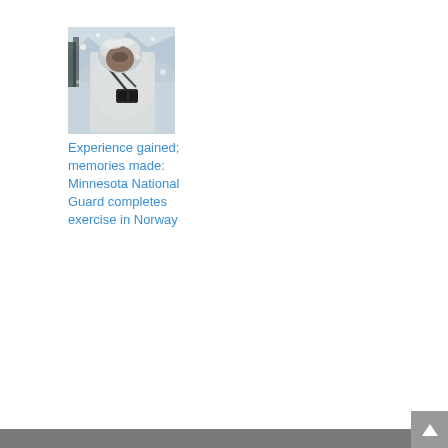[Figure (photo): A soldier wearing white winter camouflage gear and equipment in snowy conditions, likely during a cold weather military exercise.]
Experience gained; memories made: Minnesota National Guard completes exercise in Norway